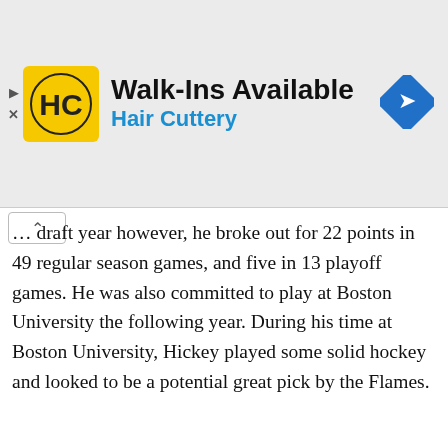[Figure (infographic): Hair Cuttery advertisement banner: HC logo on yellow square, text 'Walk-Ins Available' and 'Hair Cuttery' in blue, navigation arrow icon on right]
...his draft year however, he broke out for 22 points in 49 regular season games, and five in 13 playoff games. He was also committed to play at Boston University the following year. During his time at Boston University, Hickey played some solid hockey and looked to be a potential great pick by the Flames.
During the 2015-16 season and his second at BU, Hickey was selected to play for team Canada at the World Junior Championships, a rare occurrence for a player playing in the
Advertisements
[Figure (infographic): Pocket Casts advertisement: red banner with text 'An app by listeners, for listeners.' and Pocket Casts logo]